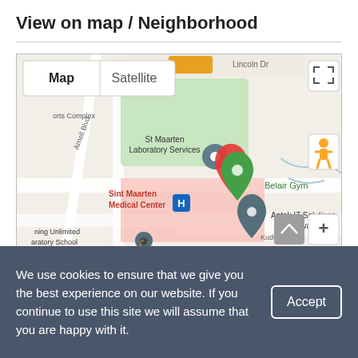View on map / Neighborhood
[Figure (map): Google Map showing St Maarten area with markers for Sint Maarten Medical Center, St Maarten Laboratory Services, Belair Gym, and Antek IT Solutions & Software. Map and Satellite toggle buttons visible. Streets include Arnell Blvd and Kudu Dr.]
We use cookies to ensure that we give you the best experience on our website. If you continue to use this site we will assume that you are happy with it.